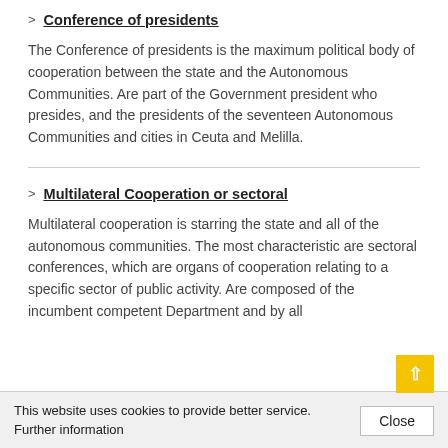Conference of presidents
The Conference of presidents is the maximum political body of cooperation between the state and the Autonomous Communities. Are part of the Government president who presides, and the presidents of the seventeen Autonomous Communities and cities in Ceuta and Melilla.
Multilateral Cooperation or sectoral
Multilateral cooperation is starring the state and all of the autonomous communities. The most characteristic are sectoral conferences, which are organs of cooperation relating to a specific sector of public activity. Are composed of the incumbent competent Department and by all
This website uses cookies to provide better service. Further information